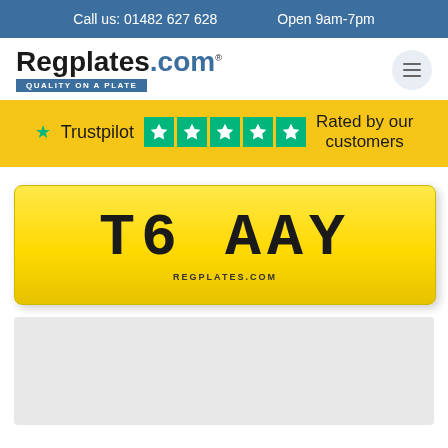Call us: 01482 627 628    Open 9am-7pm
[Figure (logo): Regplates.com logo with tagline QUALITY ON A PLATE and a hamburger menu icon]
[Figure (infographic): Trustpilot banner with 5 green stars and text 'Rated by our customers' on yellow background]
[Figure (photo): UK private registration plate showing T6 AAY on yellow background with REGPLATES.COM branding]
[Figure (other): Grey placeholder content box]